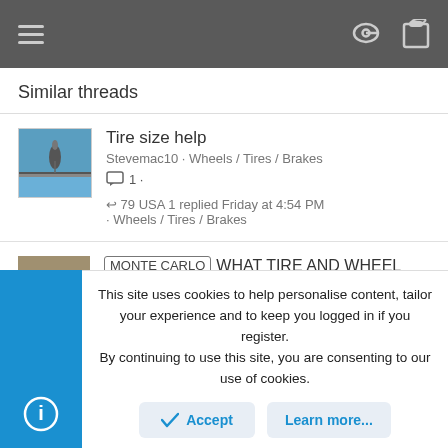Navigation bar with menu and icons
Similar threads
Tire size help · Stevemac10 · Wheels / Tires / Brakes · 1 reply · 79 USA 1 replied Friday at 4:54 PM · Wheels / Tires / Brakes
MONTE CARLO WHAT TIRE AND WHEEL SIZES · Bruce Compton · Wheels / Tires / Brakes · 7 replies · Bruce Compton replied Feb 11, 2022
This site uses cookies to help personalise content, tailor your experience and to keep you logged in if you register.
By continuing to use this site, you are consenting to our use of cookies.